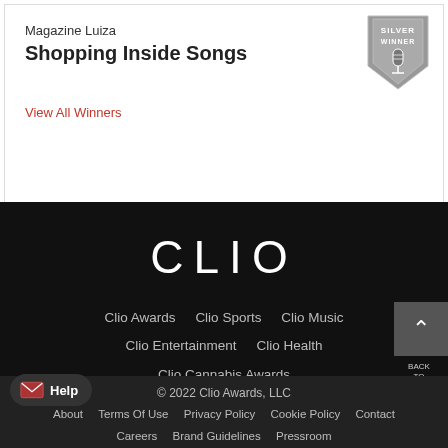Magazine Luiza
Shopping Inside Songs
[Figure (logo): Silver Winner badge/shield icon]
View All Winners
[Figure (logo): CLIO logo in white on black background]
Clio Awards   Clio Sports   Clio Music   Clio Entertainment   Clio Health   Clio Cannabis Awards
BACK TO TOP
© 2022 Clio Awards, LLC
Help
About   Terms Of Use   Privacy Policy   Cookie Policy   Contact   Careers   Brand Guidelines   Pressroom